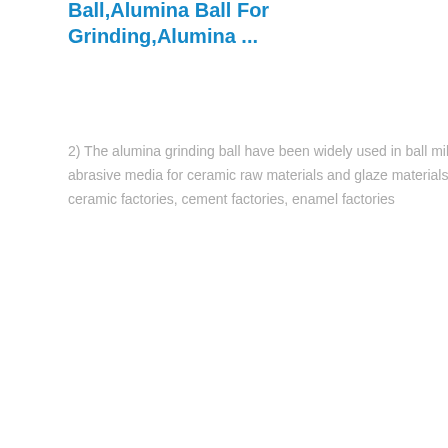Ball,Alumina Ball For Grinding,Alumina ...
2) The alumina grinding ball have been widely used in ball mills as abrasive media for ceramic raw materials and glaze materials in ceramic factories, cement factories, enamel factories
Magnetic Separation Machine
Mobile Cone Crusher
Mobile Impact Crusher
Mobile Jaw Crusher
MTM Trapezium Grinder
MTW Milling Machine
copper flotation concentrate bulk density
bulk density of badoers
[Figure (photo): Large orange mobile crushing/screening machine on a trailer, photographed outdoors at an industrial facility.]